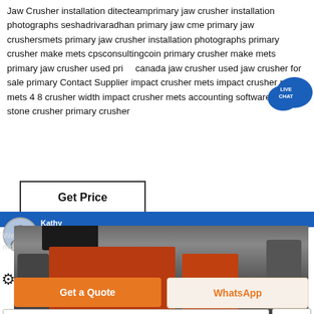Jaw Crusher installation ditecteamprimary jaw crusher installation photographs seshadrivaradhan primary jaw cme primary jaw crushersmets primary jaw crusher installation photographs primary crusher make mets cpsconsultingcoin primary crusher make mets primary jaw crusher used price canada jaw crusher used jaw crusher for sale primary Contact Supplier impact crusher mets impact crusher mets mets 4 8 crusher width impact crusher mets accounting software for stone crusher primary crusher
[Figure (illustration): Live Chat speech bubble icon with text LIVE CHAT]
Get Price
Kathy
Welcome to visit our website. This is on-line service kathy. May i help you with our machines?
[Figure (photo): Industrial jaw crusher machinery photo showing red and grey metal components]
Get a Quote
WhatsApp
Please enter ...
Send